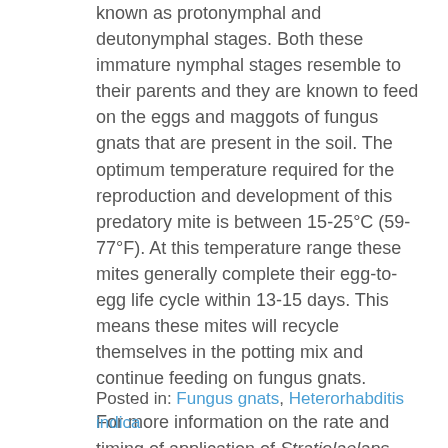known as protonymphal and deutonymphal stages. Both these immature nymphal stages resemble to their parents and they are known to feed on the eggs and maggots of fungus gnats that are present in the soil. The optimum temperature required for the reproduction and development of this predatory mite is between 15-25°C (59-77°F). At this temperature range these mites generally complete their egg-to-egg life cycle within 13-15 days. This means these mites will recycle themselves in the potting mix and continue feeding on fungus gnats.
For more information on the rate and timing of application of Stratiolaelaps scimitus against fungus gnats visit www.bugsforgrowers.com.
Posted in: Fungus gnats, Heterorhabditis indica